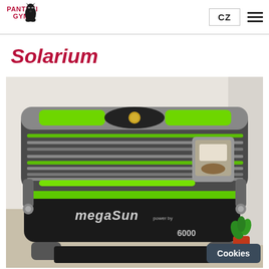PANTHER GYM | CZ
Solarium
[Figure (photo): A megaSun 6000 tanning bed/solarium machine with green LED lighting accents, displayed in a room with a white wall and a small plant in the corner.]
Cookies